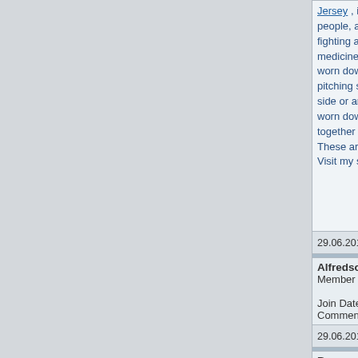Jersey , it is too flexible and people, and what has not. G fighting a disease, particular medicine. If the wear is on t worn down the boots. Black pitching staff has a 5. Squee side or another means the b worn down, or the boot caus together well? Are there any These are simple things tha Visit my site??http://www.of
29.06.2017 00:50  profile
Alfredsoica Member Join Date: 21.06.2017 Comments: 303
http://aceon.reisen  aceon
29.06.2017 01:15  profile
Bennysex Member Join Date: 21.06.2017 Comments: 308
http://aceon.world  aceon
29.06.2017 01:18  profile
Tracykic Member Join Date: 21.06.2017 Comments: 6
http://cymbalta24.us.org  wh0cd588122 colchicine co
29.06.2017 02:00  profile